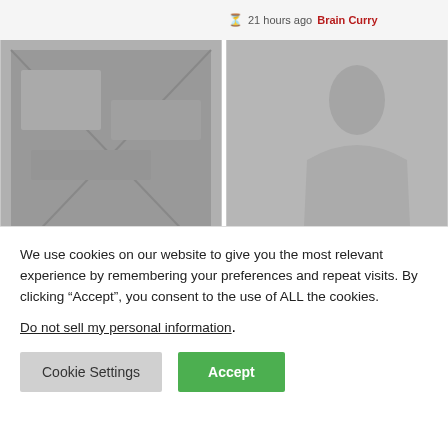21 hours ago  Brain Curry
[Figure (photo): Dark overhead photo of electronics or keyboard with Entertainment badge overlay]
[Figure (photo): Photo of a woman (casino dealer) with Entertainment badge overlay]
The 6 best inspirational
Blackjack Origins: A
We use cookies on our website to give you the most relevant experience by remembering your preferences and repeat visits. By clicking “Accept”, you consent to the use of ALL the cookies.
Do not sell my personal information.
Cookie Settings
Accept